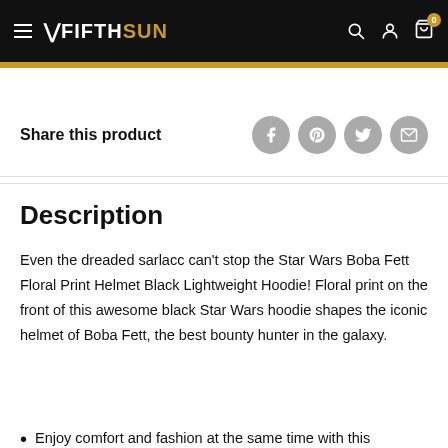FIFTH SUN — navigation header with logo, search, account, cart icons
Share this product
Description
Even the dreaded sarlacc can't stop the Star Wars Boba Fett Floral Print Helmet Black Lightweight Hoodie! Floral print on the front of this awesome black Star Wars hoodie shapes the iconic helmet of Boba Fett, the best bounty hunter in the galaxy.
Enjoy comfort and fashion at the same time with this